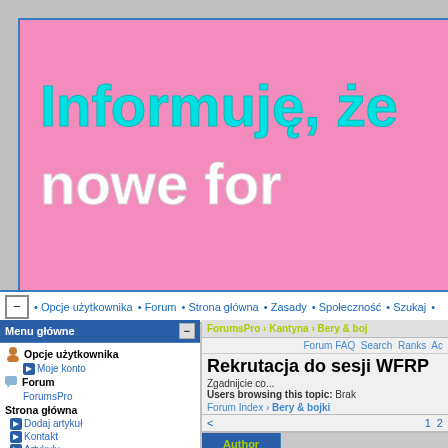[Figure (screenshot): Pink website banner with cyan and white text reading 'Informuję, że' and 'nowe for' (cut off)]
• Opcje użytkownika • Forum • Strona główna • Zasady • Społeczność • Szukaj •
Menu główne
ForumsPro › Kantyna › Bery & boj
Forum FAQ  Search  Ranks  Ac
Rekrutacja do sesji WFRP
Zgadnijcie co...
Users browsing this topic: Brak
Forum Index › Bery & bojki
< 1 2
Opcje użytkownika
Moje konto
Forum
ForumsPro
Strona główna
Dodaj artykuł
Kontakt
Artykuły
Powiadom znajomych
Tematy
Archiwum artykułów
Zasady
Zasady Mordheim PL
Zasady Warheim FS
Społeczność
Groups
Szukaj
| Author |  |
| --- | --- |
| quidamcorvus | Post subject: Rekrutacja do sesji W |